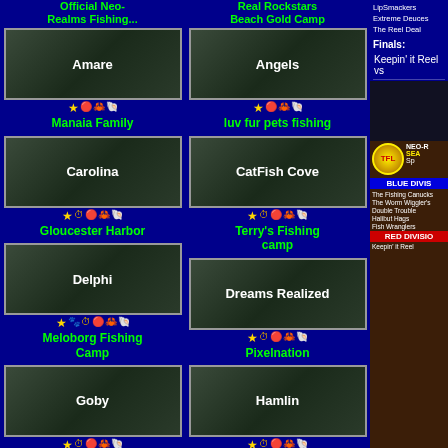Amare
Manaia Family
Carolina
Gloucester Harbor
Delphi
Meloborg Fishing Camp
Goby
Luke's Scuba and Fishing
Isle of Bree
Floridana Fishing Camp
Angels
luv fur pets fishing
CatFish Cove
Terry's Fishing camp
Dreams Realized
Pixelnation
Hamlin
Rustys Place (SimKast Cove)
Jinsil
Jinsil Seaplane Dock
LipSmackers
Extreme Deuces
The Reel Deal
Finals:
Keepin' it Reel vs
NEO-R
SEA
Sp
BLUE DIVIS
The Fishing Canucks
The Worm Wiggler's
Double Trouble
Halibut Hags
Fish Wranglers
RED DIVISIO
Keepin' it Reel